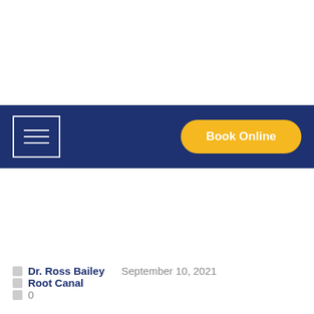[Figure (screenshot): Navigation bar with hamburger menu icon on the left and 'Book Online' yellow button on the right, on a dark navy blue background]
Dr. Ross Bailey   September 10, 2021   Root Canal
0